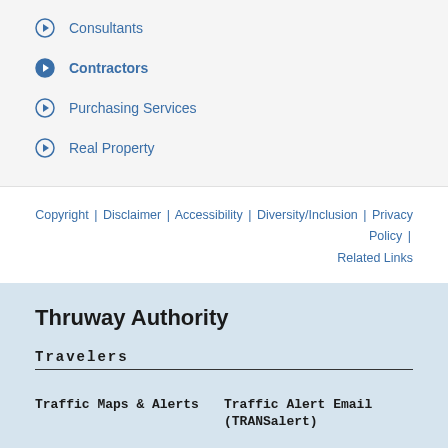Consultants
Contractors
Purchasing Services
Real Property
Copyright | Disclaimer | Accessibility | Diversity/Inclusion | Privacy Policy | Related Links
Thruway Authority
Travelers
Traffic Maps & Alerts
Traffic Alert Email (TRANSalert)
Tolls & Distances
Service Areas
Interchange/Exit Listings
Safety & Emergency